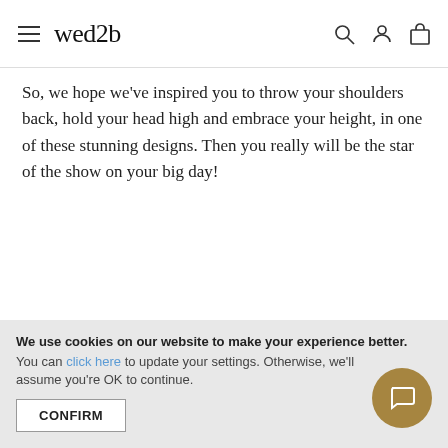wed2b
So, we hope we've inspired you to throw your shoulders back, hold your head high and embrace your height, in one of these stunning designs. Then you really will be the star of the show on your big day!
Click here to find your ideal wedding dress style then try on your favourite at your nearest WED2B store. Also, for more inspiration, check out our
We use cookies on our website to make your experience better. You can click here to update your settings. Otherwise, we'll assume you're OK to continue.
CONFIRM